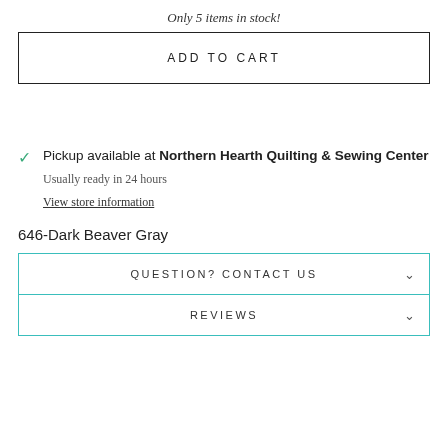Only 5 items in stock!
ADD TO CART
Pickup available at Northern Hearth Quilting & Sewing Center
Usually ready in 24 hours
View store information
646-Dark Beaver Gray
QUESTION? CONTACT US
REVIEWS